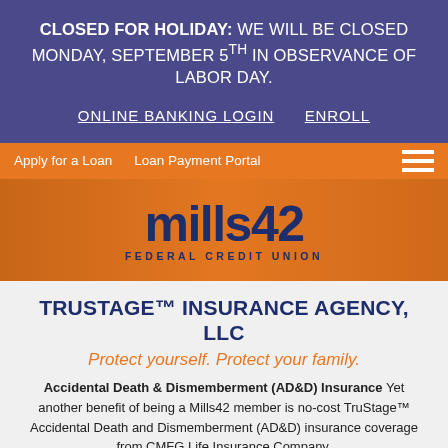CLOSED FOR HOLIDAY: WE WILL BE CLOSED MONDAY, SEPTEMBER 5TH IN OBSERVANCE OF LABOR DAY.
ONLINE BANKING LOGIN   ENROLL
Apply for a Loan   Loan Payment Portal
[Figure (logo): mills42 Federal Credit Union logo in dark navy blue text on orange background]
TRUSTAGE™ INSURANCE AGENCY, LLC
Protect yourself. Protect your family.
Accidental Death & Dismemberment (AD&D) Insurance Yet another benefit of being a Mills42 member is no-cost TruStage™ Accidental Death and Dismemberment (AD&D) insurance coverage from CMFG Life Insurance Company.